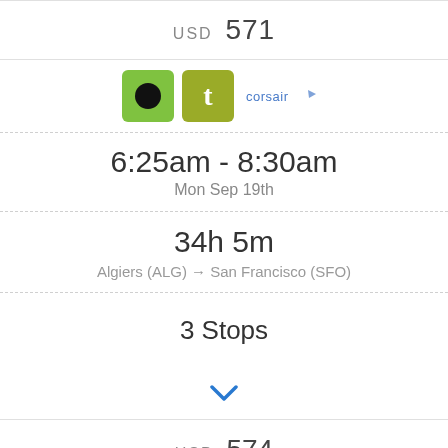USD 571
[Figure (logo): Three airline logos: a green square with black circle, an olive square with white letter t, and Corsair airline text logo]
6:25am - 8:30am
Mon Sep 19th
34h 5m
Algiers (ALG) → San Francisco (SFO)
3 Stops
[Figure (other): Blue downward chevron/arrow icon]
USD 574